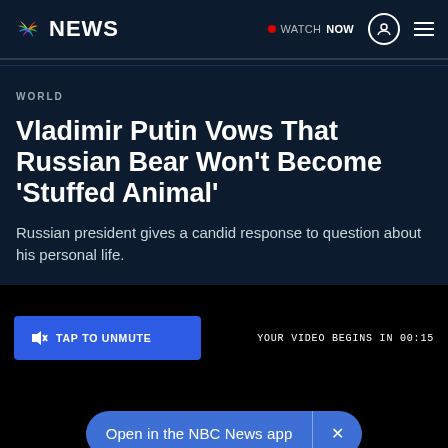NBC NEWS — WATCH NOW
WORLD
Vladimir Putin Vows That Russian Bear Won't Become 'Stuffed Animal'
Russian president gives a candid response to question about his personal life.
[Figure (screenshot): Video player area with 'TAP TO UNMUTE' blue button and countdown 'YOUR VIDEO BEGINS IN 00:15']
Open in the NBC News app